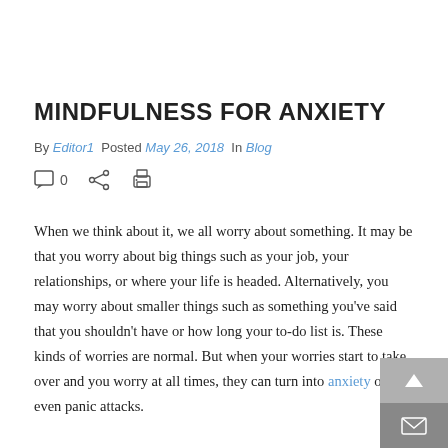MINDFULNESS FOR ANXIETY
By Editor1  Posted May 26, 2018  In Blog
[Figure (infographic): Social action icons: comment bubble with count 0, share icon, print icon]
When we think about it, we all worry about something. It may be that you worry about big things such as your job, your relationships, or where your life is headed. Alternatively, you may worry about smaller things such as something you’ve said that you shouldn’t have or how long your to-do list is. These kinds of worries are normal. But when your worries start to take over and you worry at all times, they can turn into anxiety or even panic attacks.
[Figure (infographic): Back to top arrow button (grey) and email/envelope button (darker grey) in bottom-right corner]